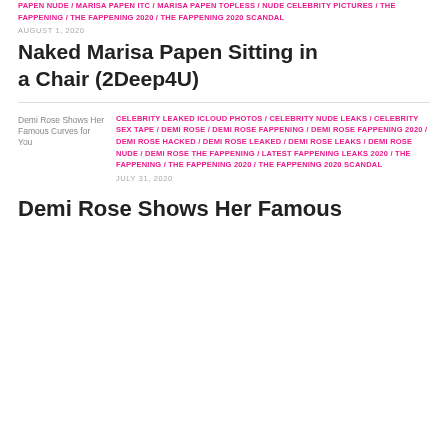PAPEN NUDE / MARISA PAPEN ITC / MARISA PAPEN TOPLESS / NUDE CELEBRITY PICTURES / THE FAPPENING / THE FAPPENING 2020 / THE FAPPENING 2020 SCANDAL
AUGUST 1, 2020
Naked Marisa Papen Sitting in a Chair (2Deep4U)
CELEBRITY LEAKED ICLOUD PHOTOS / CELEBRITY NUDE LEAKS / CELEBRITY SEX TAPE / DEMI ROSE / DEMI ROSE FAPPENING / DEMI ROSE FAPPENING 2020 / DEMI ROSE HACKED / DEMI ROSE LEAKED / DEMI ROSE LEAKS / DEMI ROSE NUDE / DEMI ROSE THE FAPPENING / LATEST FAPPENING LEAKS 2020 / THE FAPPENING / THE FAPPENING 2020 / THE FAPPENING 2020 SCANDAL
JULY 31, 2020
Demi Rose Shows Her Famous Curves for You